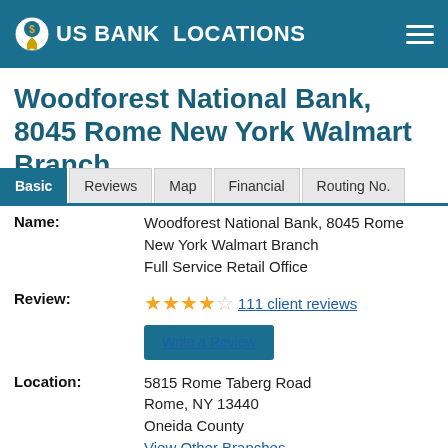US BANK LOCATIONS
Woodforest National Bank, 8045 Rome New York Walmart Branch
Basic | Reviews | Map | Financial | Routing No.
| Field | Value |
| --- | --- |
| Name: | Woodforest National Bank, 8045 Rome New York Walmart Branch
Full Service Retail Office |
| Review: | ★★★★☆ 111 client reviews / Write a Review |
| Location: | 5815 Rome Taberg Road
Rome, NY 13440
Oneida County
View Other Branches |
| Phone: | 315-336-0359 |
| Branch Deposit: | $2,290,000 |